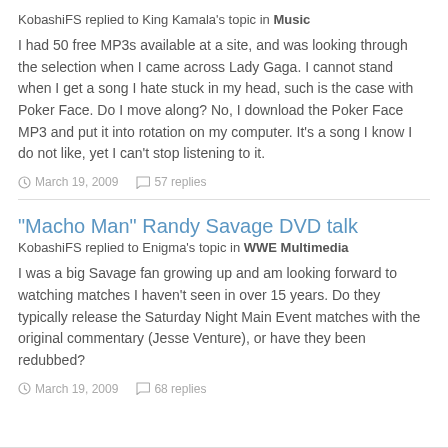KobashiFS replied to King Kamala's topic in Music
I had 50 free MP3s available at a site, and was looking through the selection when I came across Lady Gaga. I cannot stand when I get a song I hate stuck in my head, such is the case with Poker Face. Do I move along? No, I download the Poker Face MP3 and put it into rotation on my computer. It's a song I know I do not like, yet I can't stop listening to it.
March 19, 2009   57 replies
"Macho Man" Randy Savage DVD talk
KobashiFS replied to Enigma's topic in WWE Multimedia
I was a big Savage fan growing up and am looking forward to watching matches I haven't seen in over 15 years. Do they typically release the Saturday Night Main Event matches with the original commentary (Jesse Venture), or have they been redubbed?
March 19, 2009   68 replies